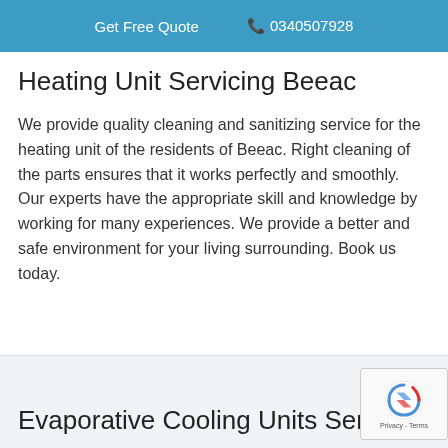Get Free Quote  0340507928
Heating Unit Servicing Beeac
We provide quality cleaning and sanitizing service for the heating unit of the residents of Beeac. Right cleaning of the parts ensures that it works perfectly and smoothly. Our experts have the appropriate skill and knowledge by working for many experiences. We provide a better and safe environment for your living surrounding. Book us today.
Evaporative Cooling Units Servicing Beea…